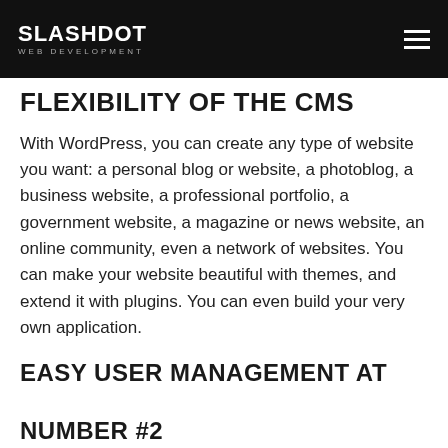SLASHDOT WEB DEVELOPMENT
FLEXIBILITY OF THE CMS
With WordPress, you can create any type of website you want: a personal blog or website, a photoblog, a business website, a professional portfolio, a government website, a magazine or news website, an online community, even a network of websites. You can make your website beautiful with themes, and extend it with plugins. You can even build your very own application.
EASY USER MANAGEMENT AT NUMBER #2
You don't always want to give everyone the same access to your website.